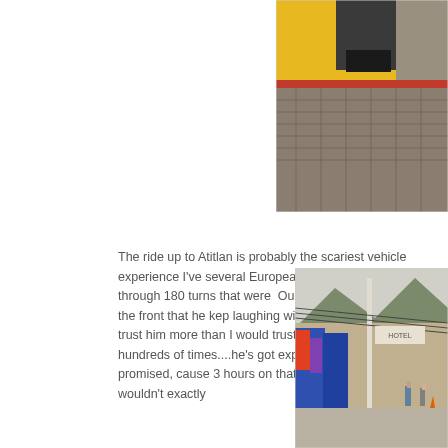[Figure (photo): Close-up photo of cobblestone street with yellow wall and someone's feet/shoes visible, partial view]
The ride up to Atitlan is probably the scariest vehicle experience I've several Europeans, twisting and turning through 180 turns that were  Our van driver had 2 friends in the front that he kep laughing with, ta However, I seemed to trust him more than I would trust myself drivin up and down hundreds of times....he's got experience, right?  I coul promised, cause 3 hours on that trip for nothing......I wouldn't exactly
[Figure (photo): Street market scene with colorful textiles/clothing hanging on display, utility pole, shops, mountains in background, people walking]